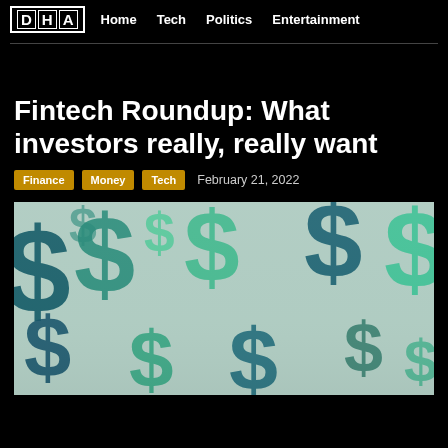DHA | Home | Tech | Politics | Entertainment
Fintech Roundup: What investors really, really want
Finance | Money | Tech  February 21, 2022
[Figure (illustration): Decorative illustration of overlapping teal and green dollar signs on a light gray background]